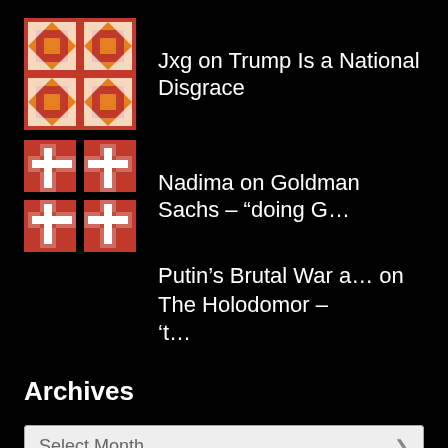Jxg on Trump Is a National Disgrace
Nadima on Goldman Sachs – “doing G…
Putin’s Brutal War a… on The Holodomor – ‘t…
Archives
Select Month
Meta
Register
Log in
Entries feed
Comments feed